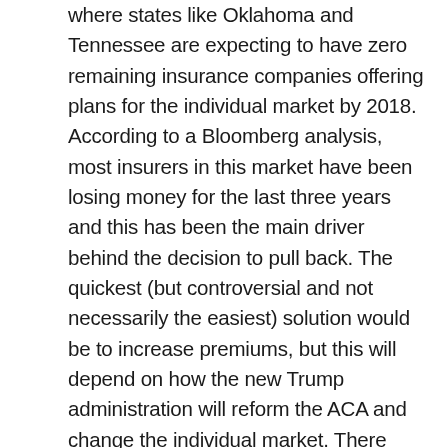where states like Oklahoma and Tennessee are expecting to have zero remaining insurance companies offering plans for the individual market by 2018. According to a Bloomberg analysis, most insurers in this market have been losing money for the last three years and this has been the main driver behind the decision to pull back. The quickest (but controversial and not necessarily the easiest) solution would be to increase premiums, but this will depend on how the new Trump administration will reform the ACA and change the individual market. There also appears in fact to be a structural problem in the exchange market, as not enough “private money” (from clients) is available, and without some forms of federal funding, similarly to Medicare, the extremely high costs of covering for the sickest portion of the population could lead to excessive premiums potentially leading to a death spiral even with the “mandates” provisions, as it